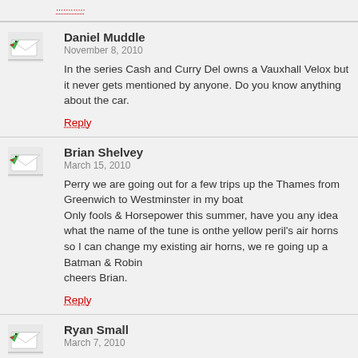Reply (top, partially cut off)
Daniel Muddle
November 8, 2010
In the series Cash and Curry Del owns a Vauxhall Velox but it never gets mentioned by anyone. Do you know anything about the car.
Reply
Brian Shelvey
March 15, 2010
Perry we are going out for a few trips up the Thames from Greenwich to Westminster in my boat
Only fools & Horsepower this summer, have you any idea what the name of the tune is onthe yellow peril's air horns so I can change my existing air horns, we re going up a Batman & Robin
cheers Brian.
Reply
Ryan Small
March 7, 2010